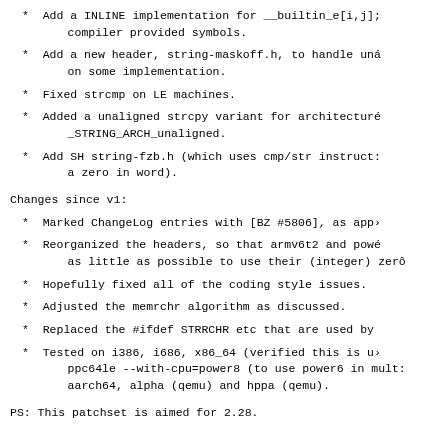* Add a INLINE implementation for __builtin_e[i,j]; compiler provided symbols.
* Add a new header, string-maskoff.h, to handle una on some implementation.
* Fixed strcmp on LE machines.
* Added a unaligned strcpy variant for architecture _STRING_ARCH_unaligned.
* Add SH string-fzb.h (which uses cmp/str instruct: a zero in word).
Changes since v1:
* Marked ChangeLog entries with [BZ #5806], as appl
* Reorganized the headers, so that armv6t2 and powe as little as possible to use their (integer) zero
* Hopefully fixed all of the coding style issues.
* Adjusted the memrchr algorithm as discussed.
* Replaced the #ifdef STRRCHR etc that are used by
* Tested on i386, i686, x86_64 (verified this is u) ppc64le --with-cpu=power8 (to use power6 in mult: aarch64, alpha (qemu) and hppa (qemu).
PS: This patchset is aimed for 2.28.